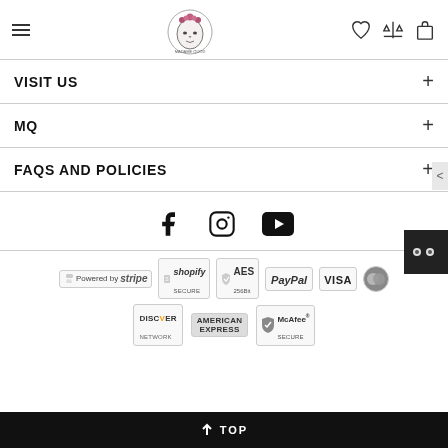[Figure (screenshot): Website header with hamburger menu, Madame Quod logo, and icons for wishlist, compare, and shopping bag]
VISIT US
MQ
FAQS AND POLICIES
[Figure (illustration): Social media icons: Facebook, Instagram, YouTube]
[Figure (illustration): Payment badges: Stripe, Shopify Secure, AES 256Bit, PayPal, Visa, Mastercard, Discover Network, American Express, McAfee Secure]
↑ TOP